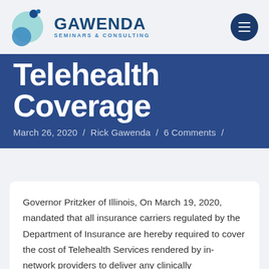[Figure (logo): Gawenda Seminars & Consulting logo with circular bubble icon in teal/blue tones and text]
Telehealth Coverage
March 26, 2020 / Rick Gawenda / 6 Comments /
Governor Pritzker of Illinois, On March 19, 2020, mandated that all insurance carriers regulated by the Department of Insurance are hereby required to cover the cost of Telehealth Services rendered by in-network providers to deliver any clinically